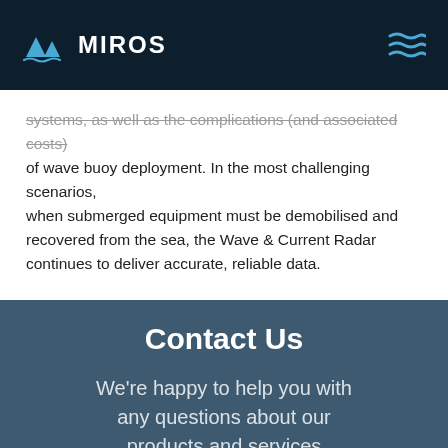MIROS
systems, as well as the complications (and associated costs) of wave buoy deployment. In the most challenging scenarios, when submerged equipment must be demobilised and recovered from the sea, the Wave & Current Radar continues to deliver accurate, reliable data.
Contact Us
We're happy to help you with any questions about our products and services